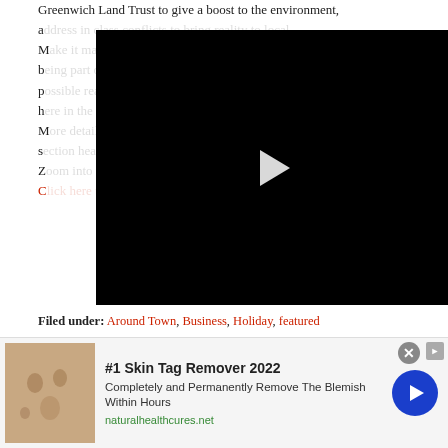Greenwich Land Trust to give a boost to the environment, a...
[Figure (screenshot): Embedded black video player with white play button triangle in the center]
Filed under: Around Town, Business, Holiday, featured
Victorian Tea at The Woman's Club of Greenwich
[Figure (screenshot): Advertisement banner: #1 Skin Tag Remover 2022 - Completely and Permanently Remove The Blemish Within Hours - naturalhealthcures.net, with skin photo on left and blue arrow circle button on right]